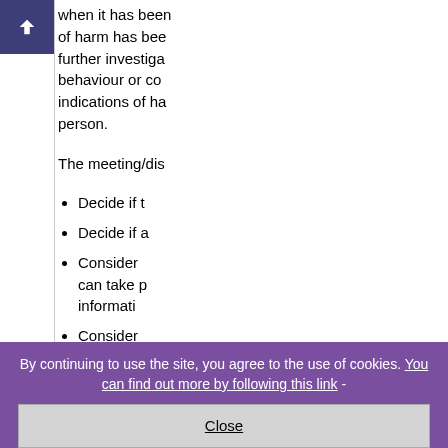when it has been of harm has been further investigated behaviour or con indications of ha person.
The meeting/dis
Decide if t
Decide if a
Consider can take p informati
Consider
By continuing to use the site, you agree to the use of cookies. You can find out more by following this link -
Close